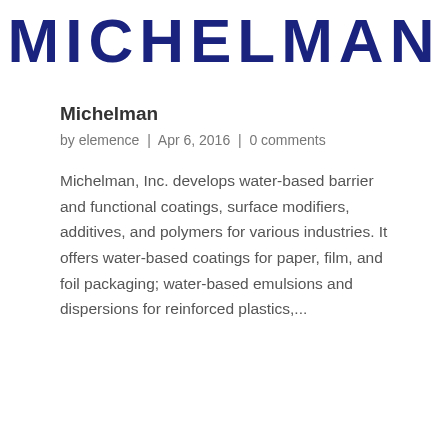MICHELMAN
Michelman
by elemence | Apr 6, 2016 | 0 comments
Michelman, Inc. develops water-based barrier and functional coatings, surface modifiers, additives, and polymers for various industries. It offers water-based coatings for paper, film, and foil packaging; water-based emulsions and dispersions for reinforced plastics,...